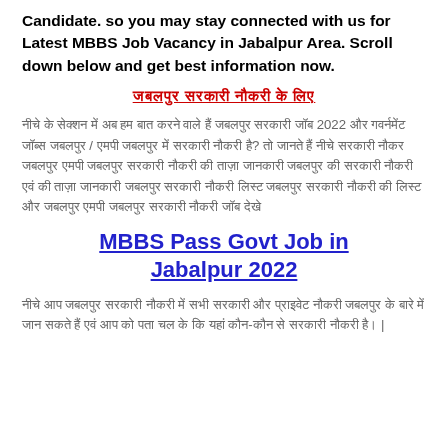Candidate. so you may stay connected with us for Latest MBBS Job Vacancy in Jabalpur Area. Scroll down below and get best information now.
जबलपुर सरकारी नौकरी के लिए
नीचे के सेक्शन में अब हम बात करने वाले हैं जबलपुर सरकारी जॉब 2022 और गवर्नमेंट जॉब्स जबलपुर / एमपी जबलपुर में सरकारी नौकरी है? तो जानते हैं नीचे सरकारी नौकर जबलपुर एमपी जबलपुर सरकारी नौकरी की ताज़ा जानकारी जबलपुर की सरकारी नौकरी एवं की ताज़ा जानकारी जबलपुर सरकारी नौकरी लिस्ट जबलपुर सरकारी नौकरी की लिस्ट और जबलपुर एमपी जबलपुर सरकारी नौकरी जॉब देखे
MBBS Pass Govt Job in Jabalpur 2022
नीचे आप जबलपुर सरकारी नौकरी में सभी सरकारी और प्राइवेट नौकरी जबलपुर के बारे में जान सकते हैं एवं आप को पता चल के कि यहां कौन-कौन से सरकारी नौकरी है।